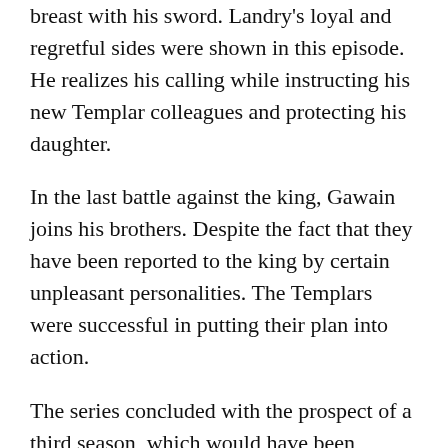breast with his sword. Landry's loyal and regretful sides were shown in this episode. He realizes his calling while instructing his new Templar colleagues and protecting his daughter.
In the last battle against the king, Gawain joins his brothers. Despite the fact that they have been reported to the king by certain unpleasant personalities. The Templars were successful in putting their plan into action.
The series concluded with the prospect of a third season, which would have been plausible given how highly regarded the first two seasons were. There are still a lot of plots that haven't been exposed. We can only construct our own assumptions and stories since the options are endless.
Overall, as we have noted, the show concluded its...